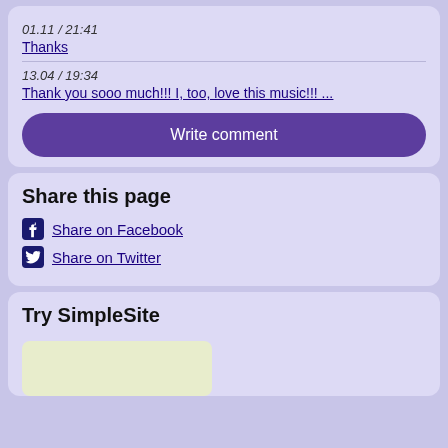01.11 / 21:41
Thanks
13.04 / 19:34
Thank you sooo much!!! I, too, love this music!!! ...
Write comment
Share this page
Share on Facebook
Share on Twitter
Try SimpleSite
[Figure (illustration): Partial screenshot of a website builder preview image, cut off at bottom]